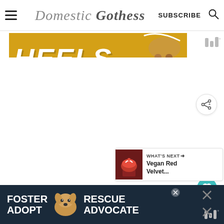Domestic Gothess — SUBSCRIBE
[Figure (photo): Yellow banner with bold white italic text 'HEELS' and dog legs visible on right side]
[Figure (infographic): Teal heart button with count 1.3K and share button below]
[Figure (photo): What's Next panel with cupcake thumbnail and text 'Vegan Red Velvet...']
[Figure (infographic): Dark navy ad banner: FOSTER ADOPT dog image RESCUE ADVOCATE with X close button]